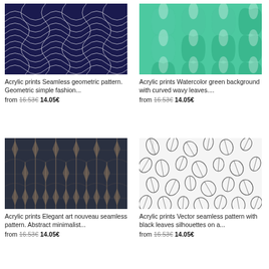[Figure (illustration): Acrylic print with seamless geometric pattern of interlocking wave shapes in navy blue and white]
Acrylic prints Seamless geometric pattern. Geometric simple fashion...
from 16.53€ 14.05€
[Figure (illustration): Acrylic print with watercolor green background curved wavy leaves pattern]
Acrylic prints Watercolor green background with curved wavy leaves....
from 16.53€ 14.05€
[Figure (illustration): Acrylic print with elegant art nouveau seamless dark pattern with golden pin-like elements]
Acrylic prints Elegant art nouveau seamless pattern. Abstract minimalist...
from 16.53€ 14.05€
[Figure (illustration): Acrylic print with vector seamless pattern of black leaf silhouettes on white background]
Acrylic prints Vector seamless pattern with black leaves silhouettes on a...
from 16.53€ 14.05€